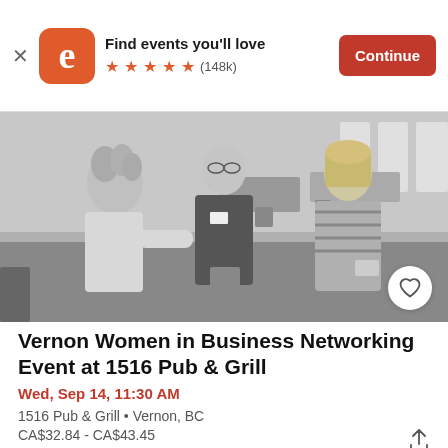[Figure (logo): Eventbrite app banner with logo, 'Find events you'll love', star rating (148k reviews), and Continue button]
[Figure (photo): Black and white photo of three women at a networking event, smiling and holding items, in a room with tables and chairs]
Vernon Women in Business Networking Event at 1516 Pub & Grill
Wed, Sep 14, 11:30 AM
1516 Pub & Grill • Vernon, BC
CA$32.84 - CA$43.45